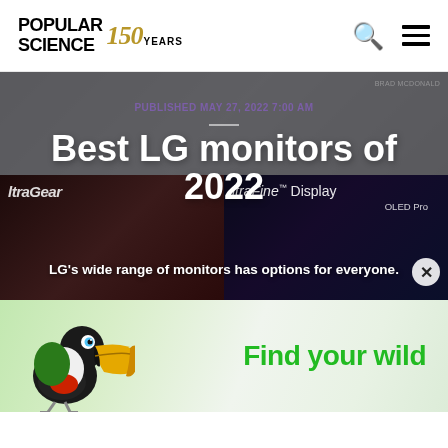Popular Science 150 Years
PUBLISHED MAY 27, 2022 7:00 AM
Best LG monitors of 2022
[Figure (photo): LG UltraGear and UltraFine Display OLED Pro monitors shown side by side against dark background]
LG's wide range of monitors has options for everyone.
[Figure (photo): Advertisement banner showing a toucan bird with text 'Find your wild' in green on light green background]